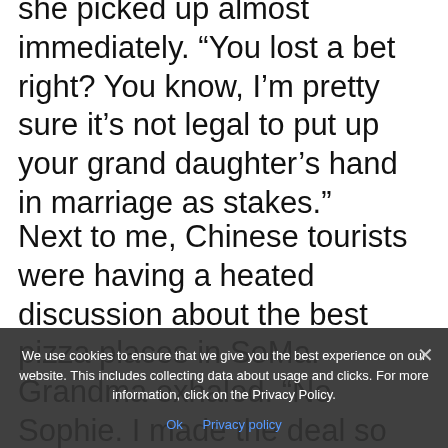she picked up almost immediately. “You lost a bet right? You know, I’m pretty sure it’s not legal to put up your grand daughter’s hand in marriage as stakes.”
Next to me, Chinese tourists were having a heated discussion about the best pizza places in SoMa. Grandma exhaled. “No Sophie. I made the deal so that we would be allowed to come to this country. It was a different time.”
I had tried to assimilate and
We use cookies to ensure that we give you the best experience on our website. This includes collecting data about usage and clicks. For more information, click on the Privacy Policy.